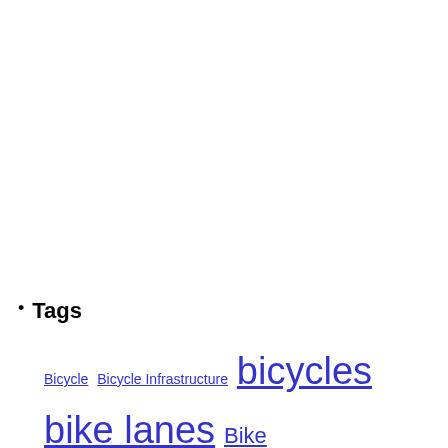Tags
Bicycle Bicycle Infrastructure bicycles bike lanes Bike Miami Days Bikes bikeway biking Brickell bus Calendar Climate Change Coconut Grove complete streets Congestion Cycling FDOT